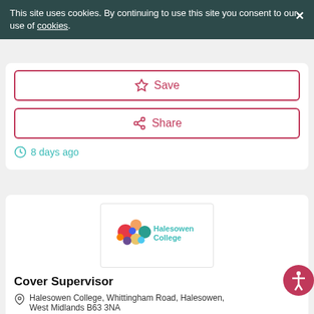This site uses cookies. By continuing to use this site you consent to our use of cookies.
[Figure (screenshot): Save button with star icon, red border]
[Figure (screenshot): Share button with share icon, red border]
8 days ago
[Figure (logo): Halesowen College logo with colourful bubbles]
Cover Supervisor
Halesowen College, Whittingham Road, Halesowen, West Midlands B63 3NA
£22,134 - £22,940 Per Year